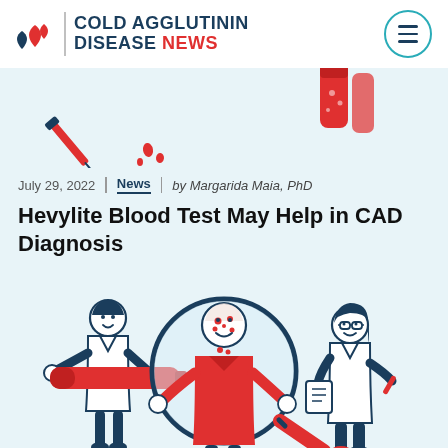COLD AGGLUTININ DISEASE NEWS
[Figure (illustration): Partial illustration of medical equipment - syringes and blood test tubes on light blue background, cropped at top]
July 29, 2022 | News | by Margarida Maia, PhD
Hevylite Blood Test May Help in CAD Diagnosis
[Figure (illustration): Medical illustration showing a doctor holding a large magnifying glass examining a patient in a red shirt with spots/dots on face and neck, and a female doctor in lab coat taking notes on the right, all drawn in dark teal and red on light blue background]